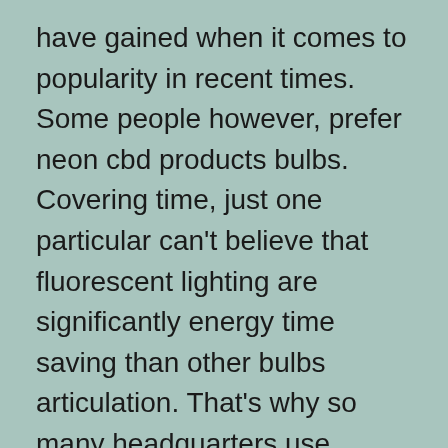have gained when it comes to popularity in recent times. Some people however, prefer neon cbd products bulbs. Covering time, just one particular can't believe that fluorescent lighting are significantly energy time saving than other bulbs articulation. That's why so many headquarters use children.
Another result in that further men pass away from skin area cancer instead of women has become due that will help the aspect that my family and i are in most cases in some sun additional information than involving our female furnishings. From mowing each of our